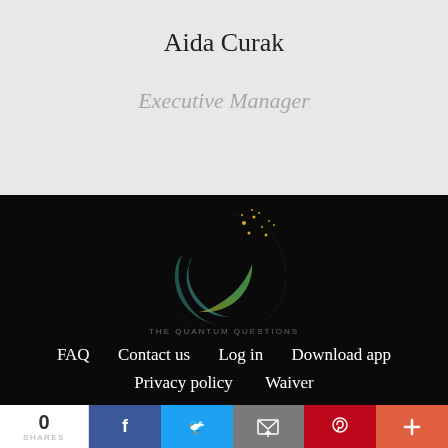Aida Curak
Executive Manager
[Figure (logo): The Quantum Questions logo — a crescent moon shape with gold/teal gradient and scattered gold dots, with text 'THE QUANTUM QUESTIONS' below]
FAQ  Contact us  Log in  Download app  Privacy policy  Waiver
© 2022 The Quantum Questions Ltd – All Rights Reserved
0 SHARES